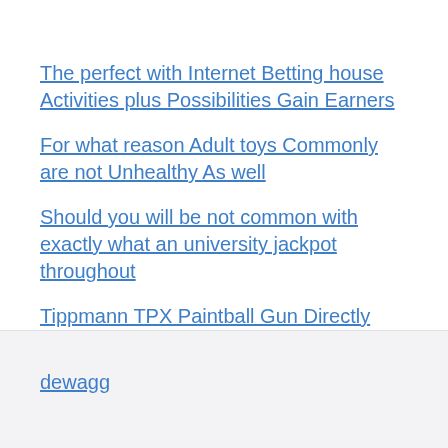The perfect with Internet Betting house Activities plus Possibilities Gain Earners
For what reason Adult toys Commonly are not Unhealthy As well
Should you will be not common with exactly what an university jackpot throughout
Tippmann TPX Paintball Gun Directly Present shooter Weapon Evaluation
All the Billy Reconnect Cinema
dewagg